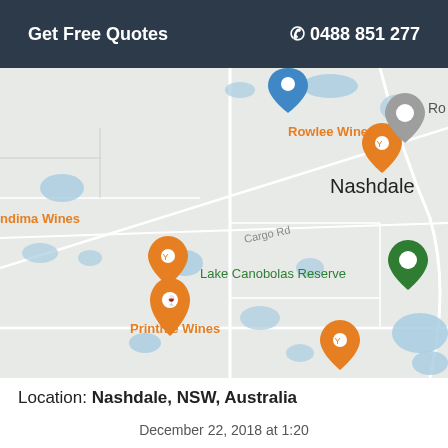Get Free Quotes   ☎ 0488 851 277
[Figure (map): Google Maps screenshot showing Nashdale, NSW, Australia area with landmarks: Rowlee Wines, ndima Wines, Borrodell Wines and SkyBar, Printhie Wines, Lake Canobolas Reserve. Roads include Cargo Road. Green pin marks Lake Canobolas Reserve.]
Location: Nashdale, NSW, Australia
December 22, 2018 at 1:20